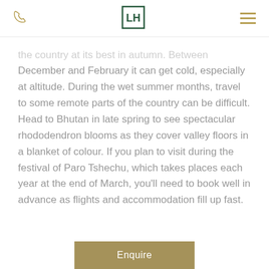[phone icon] [LH logo] [menu icon]
the country at its best in autumn. Between December and February it can get cold, especially at altitude. During the wet summer months, travel to some remote parts of the country can be difficult. Head to Bhutan in late spring to see spectacular rhododendron blooms as they cover valley floors in a blanket of colour. If you plan to visit during the festival of Paro Tshechu, which takes places each year at the end of March, you'll need to book well in advance as flights and accommodation fill up fast.
Enquire